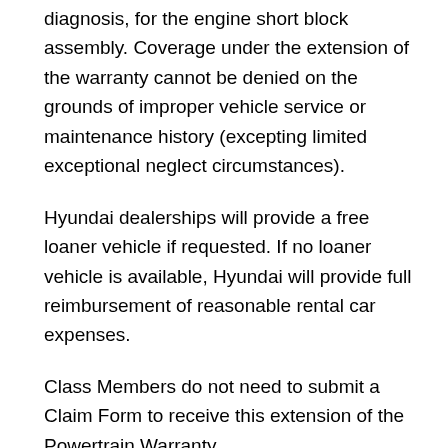diagnosis, for the engine short block assembly. Coverage under the extension of the warranty cannot be denied on the grounds of improper vehicle service or maintenance history (excepting limited exceptional neglect circumstances).
Hyundai dealerships will provide a free loaner vehicle if requested. If no loaner vehicle is available, Hyundai will provide full reimbursement of reasonable rental car expenses.
Class Members do not need to submit a Claim Form to receive this extension of the Powertrain Warranty